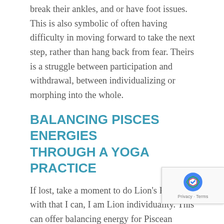break their ankles, and or have foot issues. This is also symbolic of often having difficulty in moving forward to take the next step, rather than hang back from fear.  Theirs is a struggle between participation and withdrawal, between individualizing or morphing into the whole.
BALANCING PISCES ENERGIES THROUGH A YOGA PRACTICE
If lost, take a moment to do Lion's Pose, roar with that I can, I am Lion individuality.  This can offer balancing energy for Piscean bodies lost in too many dreamy undercurrents or sacrificial seas.
Some points about how to use a bit of rest...